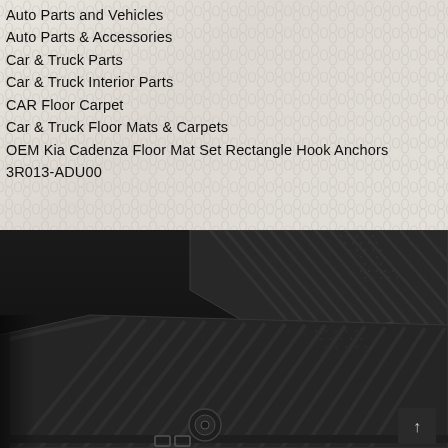Auto Parts and Vehicles
Auto Parts & Accessories
Car & Truck Parts
Car & Truck Interior Parts
CAR Floor Carpet
Car & Truck Floor Mats & Carpets
OEM Kia Cadenza Floor Mat Set Rectangle Hook Anchors
3R013-ADU00
[Figure (photo): Black rubber floor mats for Kia Cadenza, showing ribbed texture and rectangular hook anchor, viewed from an angle]